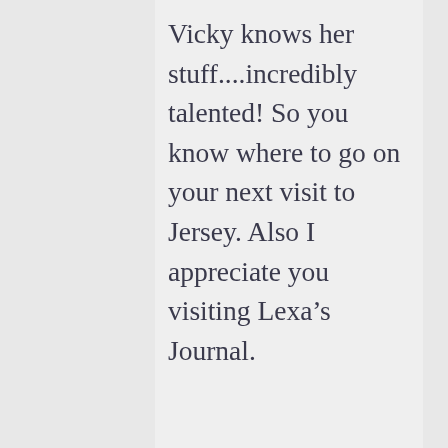Vicky knows her stuff....incredibly talented! So you know where to go on your next visit to Jersey. Also I appreciate you visiting Lexa's Journal.
TUESDAY, 27 AUGUST, 13 AT 4:43 PM | REPLY
Advertisements
[Figure (other): DuckDuckGo advertisement banner: orange left section with text 'Search, browse, and email with more privacy. All in One Free App' and dark right section with DuckDuckGo duck logo and text 'DuckDuckGo']